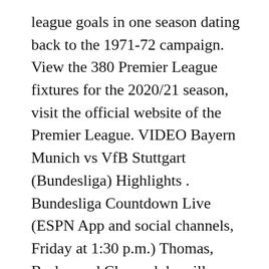league goals in one season dating back to the 1971-72 campaign. View the 380 Premier League fixtures for the 2020/21 season, visit the official website of the Premier League. VIDEO Bayern Munich vs VfB Stuttgart (Bundesliga) Highlights . Bundesliga Countdown Live (ESPN App and social channels, Friday at 1:30 p.m.) Thomas, Burley and Cherundolo will headline a 30-minute preview show on Twitter, YouTube, Facebook and the ESPN App focusing on the FC Bayern München-FC Schalke 04 season-opener at 1:30 p.m. on Friday. 10/4 23:30 AEST. The 2020/21 Bundesliga season was the first under the new rights deal with ESPN. Watch the Bundesliga highlights of FC Bayern München vs 1. 9. Beginning this weekend